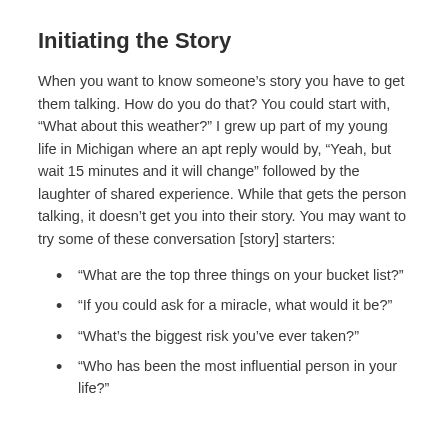Initiating the Story
When you want to know someone’s story you have to get them talking. How do you do that? You could start with, “What about this weather?” I grew up part of my young life in Michigan where an apt reply would by, “Yeah, but wait 15 minutes and it will change” followed by the laughter of shared experience. While that gets the person talking, it doesn’t get you into their story. You may want to try some of these conversation [story] starters:
“What are the top three things on your bucket list?”
“If you could ask for a miracle, what would it be?”
“What’s the biggest risk you’ve ever taken?”
“Who has been the most influential person in your life?”